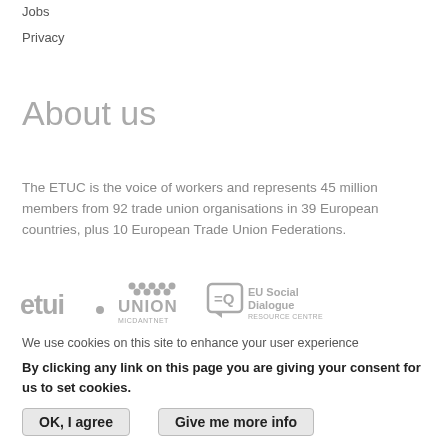Jobs
Privacy
About us
The ETUC is the voice of workers and represents 45 million members from 92 trade union organisations in 39 European countries, plus 10 European Trade Union Federations.
[Figure (logo): Three logos: etui (European Trade Union Institute), UNION MICDANTNET, EU Social Dialogue Resource Centre]
We use cookies on this site to enhance your user experience
By clicking any link on this page you are giving your consent for us to set cookies.
OK, I agree   Give me more info